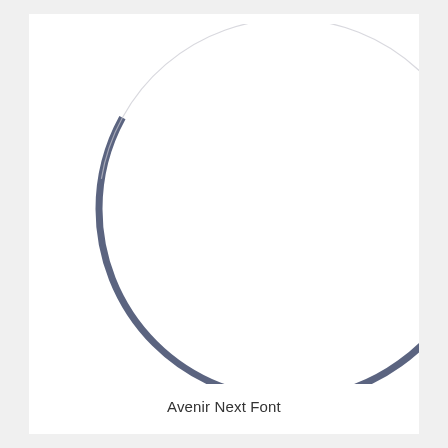[Figure (illustration): A large circle rendered with a thick dark slate-blue stroke on the left arc and a thin light gray stroke on the right arc, creating a crescent or partial moon appearance. The circle is partially cropped, showing mostly the left and bottom portions within the page boundary.]
Avenir Next Font